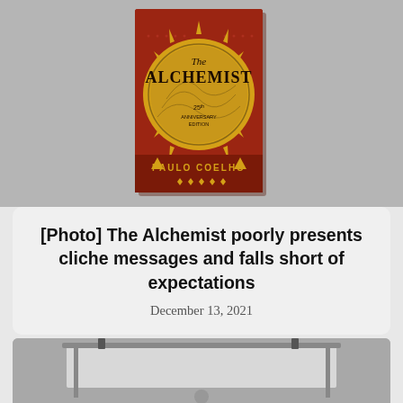[Figure (photo): Photo of The Alchemist 25th Anniversary Edition book by Paulo Coelho. Red cover with golden sun circle design in center.]
[Photo] The Alchemist poorly presents cliche messages and falls short of expectations
December 13, 2021
[Figure (photo): Partial photo of a whiteboard or presentation board with clips, visible at bottom of page.]